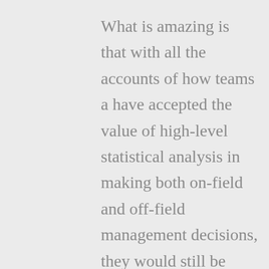What is amazing is that with all the accounts of how teams a have accepted the value of high-level statistical analysis in making both on-field and off-field management decisions, they would still be making such a gross and proven logical blunder.